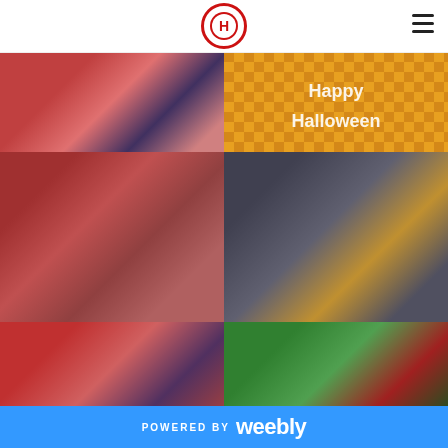School logo and navigation hamburger menu
[Figure (photo): Child in pink spider-man costume]
[Figure (photo): Happy Halloween banner/decoration with orange and checkered background]
[Figure (photo): Child in Marshall Paw Patrol fire chief costume eating a donut]
[Figure (photo): Child in Batman costume walking in school hallway]
[Figure (photo): Collage of multiple children in various Halloween costumes]
[Figure (photo): Two children in Ninja and Hulk costumes]
POWERED BY weebly